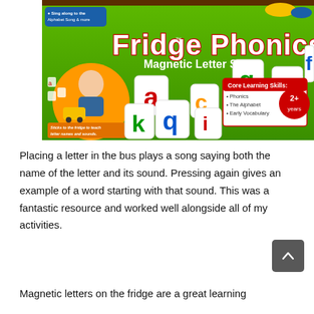[Figure (photo): Product box of 'Fridge Phonics Magnetic Letter Set' by LeapFrog. Green box with large white text 'Fridge Phonics' and 'Magnetic Letter Set'. Shows magnetic letter tiles (a, k, q, i, c, g, e), a child placing letters in a toy bus, and 'Core Learning Skills: Phonics, The Alphabet, Early Vocabulary'. Badge shows '2+ years'. Small orange sticker reads 'Sticks to the fridge to teach letter names and sounds.' Blue badge: 'Sing along to the Alphabet Song & more'.]
Placing a letter in the bus plays a song saying both the name of the letter and its sound. Pressing again gives an example of a word starting with that sound. This was a fantastic resource and worked well alongside all of my activities.
Magnetic letters on the fridge are a great learning